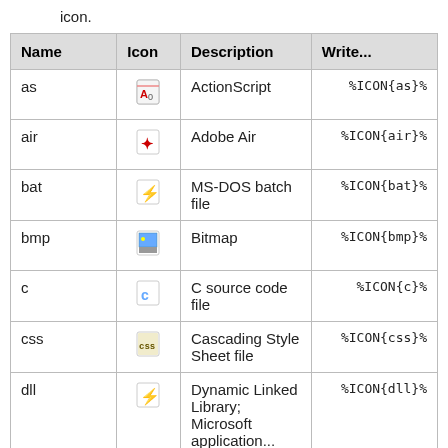icon.
| Name | Icon | Description | Write... |
| --- | --- | --- | --- |
| as | [icon] | ActionScript | %ICON{as}% |
| air | [icon] | Adobe Air | %ICON{air}% |
| bat | [icon] | MS-DOS batch file | %ICON{bat}% |
| bmp | [icon] | Bitmap | %ICON{bmp}% |
| c | [icon] | C source code file | %ICON{c}% |
| css | [icon] | Cascading Style Sheet file | %ICON{css}% |
| dll | [icon] | Dynamic Linked Library; Microsoft application... | %ICON{dll}% |